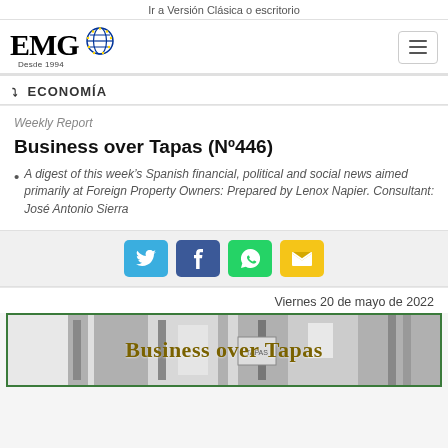Ir a Versión Clásica o escritorio
[Figure (logo): EMG logo with globe icon and 'Desde 1994' text]
ECONOMÍA
Weekly Report
Business over Tapas (Nº446)
A digest of this week's Spanish financial, political and social news aimed primarily at Foreign Property Owners: Prepared by Lenox Napier. Consultant: José Antonio Sierra
[Figure (infographic): Social share buttons: Twitter, Facebook, WhatsApp, Email]
Viernes 20 de mayo de 2022
[Figure (photo): Business over Tapas banner image with text overlay on grey/white background, bordered in green]